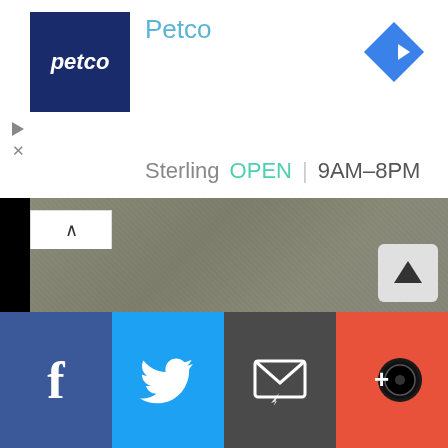[Figure (logo): Petco logo: dark navy blue square with white italic 'petco' text]
Petco
[Figure (other): Google Maps navigation arrow icon (blue diamond with white right-turn arrow)]
Sterling  OPEN  9AM–8PM
[Figure (screenshot): Google Maps satellite/street view area showing gray map tile]
[Figure (other): Bottom social sharing bar with Facebook, Twitter, Email, and Follow (+) buttons]